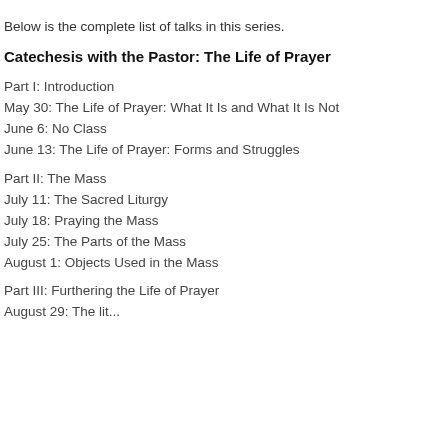Below is the complete list of talks in this series.
Catechesis with the Pastor: The Life of Prayer
Part I: Introduction
May 30: The Life of Prayer: What It Is and What It Is Not
June 6: No Class
June 13: The Life of Prayer: Forms and Struggles
Part II: The Mass
July 11: The Sacred Liturgy
July 18: Praying the Mass
July 25: The Parts of the Mass
August 1: Objects Used in the Mass
Part III: Furthering the Life of Prayer
August 29: The lit... [continues]